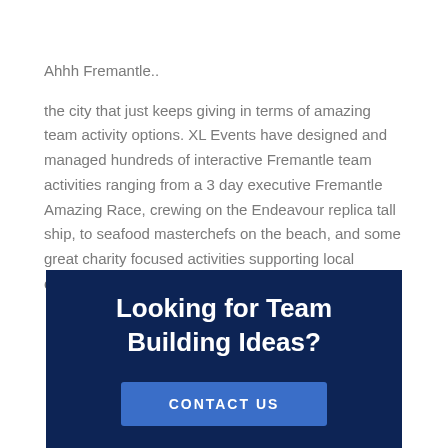Ahhh Fremantle..
the city that just keeps giving in terms of amazing team activity options. XL Events have designed and managed hundreds of interactive Fremantle team activities ranging from a 3 day executive Fremantle Amazing Race, crewing on the Endeavour replica tall ship, to seafood masterchefs on the beach, and some great charity focused activities supporting local community groups.
Looking for Team Building Ideas?
CONTACT US